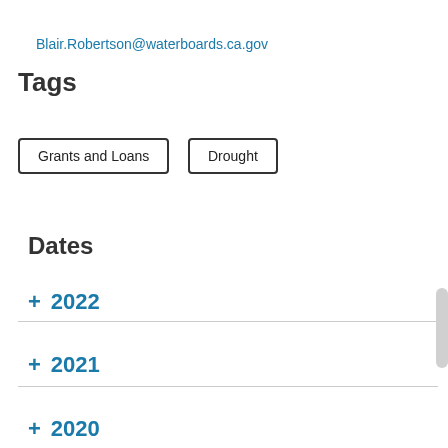Blair.Robertson@waterboards.ca.gov
Tags
Grants and Loans
Drought
Dates
+ 2022
+ 2021
+ 2020